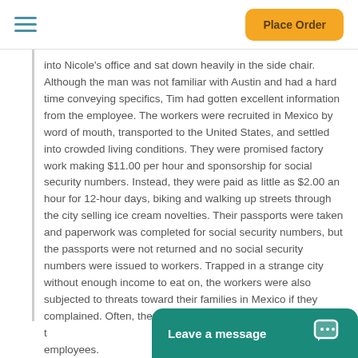Place Order
into Nicole's office and sat down heavily in the side chair. Although the man was not familiar with Austin and had a hard time conveying specifics, Tim had gotten excellent information from the employee. The workers were recruited in Mexico by word of mouth, transported to the United States, and settled into crowded living conditions. They were promised factory work making $11.00 per hour and sponsorship for social security numbers. Instead, they were paid as little as $2.00 an hour for 12-hour days, biking and walking up streets through the city selling ice cream novelties. Their passports were taken and paperwork was completed for social security numbers, but the passports were not returned and no social security numbers were issued to workers. Trapped in a strange city without enough income to eat on, the workers were also subjected to threats toward their families in Mexico if they complained. Often, there were men stationed near t... employees.